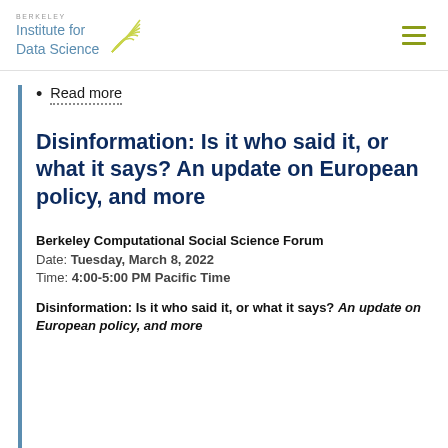Berkeley Institute for Data Science
Read more
Disinformation: Is it who said it, or what it says? An update on European policy, and more
Berkeley Computational Social Science Forum
Date: Tuesday, March 8, 2022
Time: 4:00-5:00 PM Pacific Time
Disinformation: Is it who said it, or what it says? An update on European policy, and more